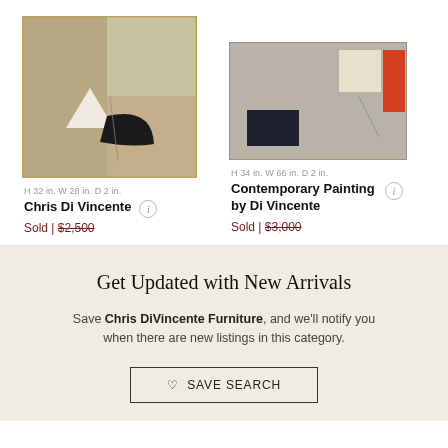[Figure (illustration): Abstract painting with beige and tan color blocks, white triangle and black curved shape in center]
H 32 in. W 28 in. D 2 in.
Chris Di Vincente
Sold | $2,500
[Figure (illustration): Abstract painting with grey blocks, cream rectangle, dark navy square lower left, orange rectangle upper right]
H 34 in. W 66 in. D 2 in.
Contemporary Painting by Di Vincente
Sold | $3,000
Get Updated with New Arrivals
Save Chris DiVincente Furniture, and we'll notify you when there are new listings in this category.
♡ SAVE SEARCH